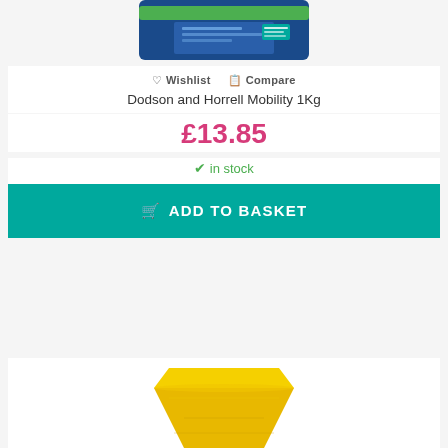[Figure (photo): Top portion of a blue product container (Dodson and Horrell Mobility 1Kg) visible at top of page]
♡ Wishlist  🖨 Compare
Dodson and Horrell Mobility 1Kg
£13.85
✔ in stock
🛒 ADD TO BASKET
[Figure (photo): Bottom portion of a yellow product (possibly a block or wedge shape) visible at bottom of page]